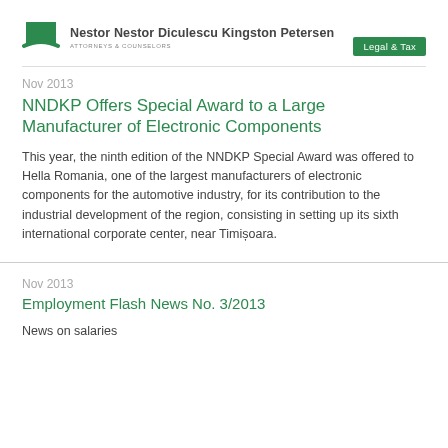[Figure (logo): Nestor Nestor Diculescu Kingston Petersen law firm logo with green square icon and 'Legal & Tax' badge]
Nov 2013
NNDKP Offers Special Award to a Large Manufacturer of Electronic Components
This year, the ninth edition of the NNDKP Special Award was offered to Hella Romania, one of the largest manufacturers of electronic components for the automotive industry, for its contribution to the industrial development of the region, consisting in setting up its sixth international corporate center, near Timișoara.
Nov 2013
Employment Flash News No. 3/2013
News on salaries